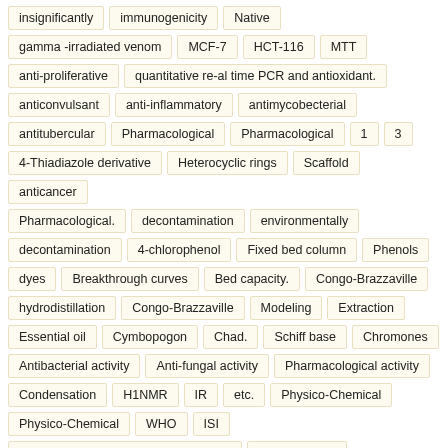insignificantly
immunogenicity
Native
gamma -irradiated venom
MCF-7
HCT-116
MTT
anti-proliferative
quantitative re-al time PCR and antioxidant.
anticonvulsant
anti-inflammatory
antimycobecterial
antitubercular
Pharmacological
Pharmacological
1
3
4-Thiadiazole derivative
Heterocyclic rings
Scaffold
anticancer
Pharmacological.
decontamination
environmentally
decontamination
4-chlorophenol
Fixed bed column
Phenols
dyes
Breakthrough curves
Bed capacity.
Congo-Brazzaville
hydrodistillation
Congo-Brazzaville
Modeling
Extraction
Essential oil
Cymbopogon
Chad.
Schiff base
Chromones
Antibacterial activity
Anti-fungal activity
Pharmacological activity
Condensation
H1NMR
IR
etc.
Physico-Chemical
Physico-Chemical
WHO
ISI
Alsisar Town and Its Surrounding Area
Ground water.